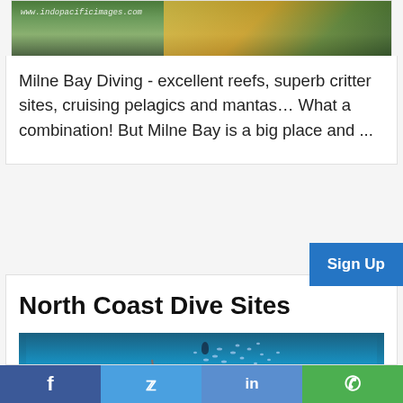[Figure (photo): Underwater coral reef photo with watermark www.indopacificimages.com, showing coral and sponge]
Milne Bay Diving - excellent reefs, superb critter sites, cruising pelagics and mantas… What a combination! But Milne Bay is a big place and ...
Sign Up
North Coast Dive Sites
[Figure (photo): Underwater scene showing a diver surrounded by a school of fish above a coral reef]
f  [Twitter bird]  in  [WhatsApp]